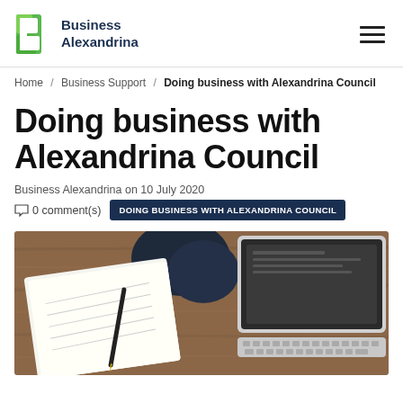Business Alexandrina
Home / Business Support / Doing business with Alexandrina Council
Doing business with Alexandrina Council
Business Alexandrina on 10 July 2020
0 comment(s)   DOING BUSINESS WITH ALEXANDRINA COUNCIL
[Figure (photo): Overhead view of a person sitting at a wooden table with a laptop computer and an open notebook with a pen, viewed from above]